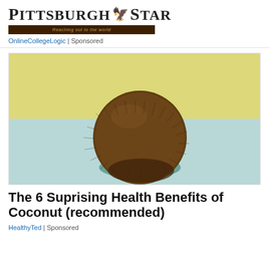Pittsburgh Star — Reaching out to the world
OnlineCollegeLogic | Sponsored
[Figure (photo): A whole brown coconut with fibrous husk sitting on a two-tone background: yellow on top half, light blue on bottom half, with a dark teal shadow beneath the coconut.]
The 6 Suprising Health Benefits of Coconut (recommended)
HealthyTed | Sponsored